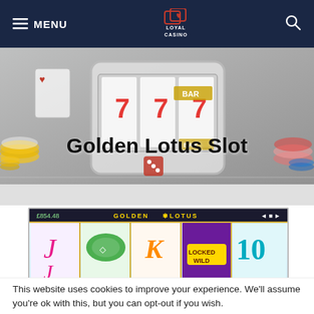MENU | LOYAL CASINO (logo) | Search
Golden Lotus Slot
[Figure (photo): Casino slot machine hero banner with smartphone showing slot reels, casino chips, dice and other casino elements in the background]
[Figure (screenshot): Golden Lotus slot game screenshot showing colorful symbols including lotus flowers, a Locked Wild symbol on purple background, and various other symbols on the reels. Title reads GOLDEN LOTUS at top.]
This website uses cookies to improve your experience. We'll assume you're ok with this, but you can opt-out if you wish.